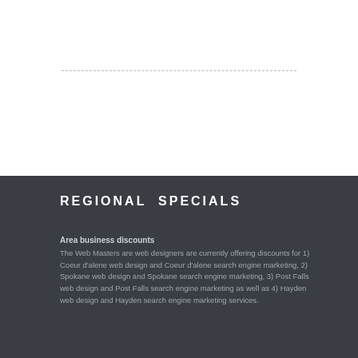REGIONAL SPECIALS
Area business discounts
The Web Masters are web designers are currently offering discounts for 1) Coeur d'alene web design and Coeur d'alene search engine marketing, 2) Spokane web design and Spokane search engine marketing, 3) Post Falls web design and Post Falls search engine marketing as well as 4) Hayden web design and Hayden search engine marketing services.